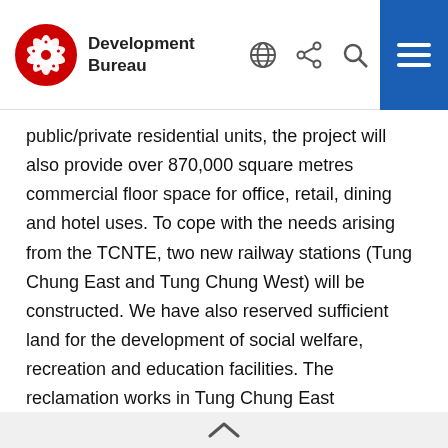Development Bureau
public/private residential units, the project will also provide over 870,000 square metres commercial floor space for office, retail, dining and hotel uses. To cope with the needs arising from the TCNTE, two new railway stations (Tung Chung East and Tung Chung West) will be constructed. We have also reserved sufficient land for the development of social welfare, recreation and education facilities. The reclamation works in Tung Chung East commenced in end-2017. We expect the first population intake in around 2023/24 the earliest. Relevant government departments will implement the above facilities gradually taking account of the progress of the TCNTE project.